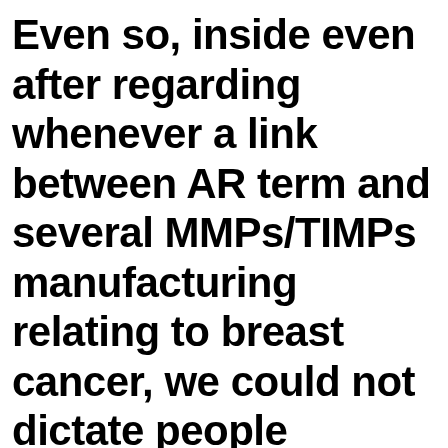Even so, inside even after regarding whenever a link between AR term and several MMPs/TIMPs manufacturing relating to breast cancer, we could not dictate people significant relationship anywhere between AR position and you may